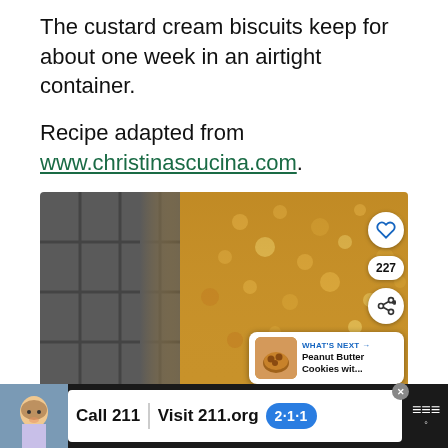The custard cream biscuits keep for about one week in an airtight container.
Recipe adapted from www.christinascucina.com.
[Figure (photo): Close-up photo of a custard cream biscuit (golden/tan colored with textured surface) alongside a dark baking tin, with social media overlay buttons (heart/like, share count 227, share button) and a 'What's Next' card showing Peanut Butter Cookies]